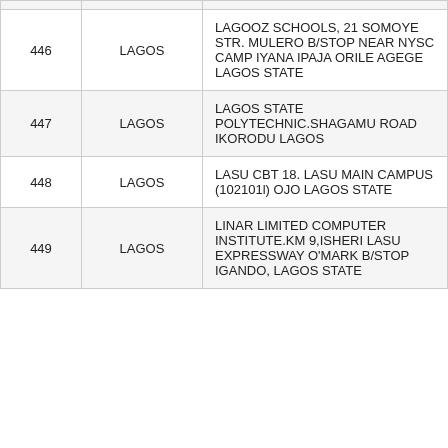| 446 | LAGOS | LAGOOZ SCHOOLS, 21 SOMOYE STR. MULERO B/STOP NEAR NYSC CAMP IYANA IPAJA ORILE AGEGE LAGOS STATE |
| 447 | LAGOS | LAGOS STATE POLYTECHNIC.SHAGAMU ROAD IKORODU LAGOS |
| 448 | LAGOS | LASU CBT 18. LASU MAIN CAMPUS (102101l) OJO LAGOS STATE |
| 449 | LAGOS | LINAR LIMITED COMPUTER INSTITUTE.KM 9,ISHERI LASU EXPRESSWAY O'MARK B/STOP IGANDO, LAGOS STATE |